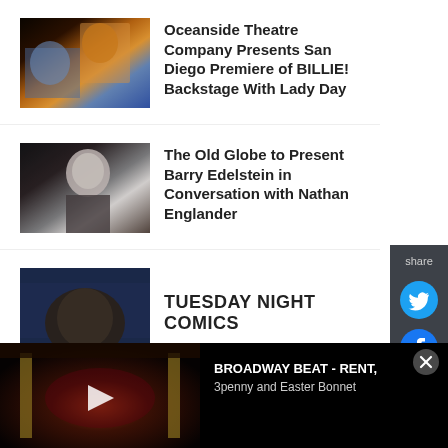[Figure (photo): Stage performance photo with performers in warm lighting]
Oceanside Theatre Company Presents San Diego Premiere of BILLIE! Backstage With Lady Day
[Figure (photo): Man in suit at event]
The Old Globe to Present Barry Edelstein in Conversation with Nathan Englander
[Figure (photo): Dark thumbnail with blue tones, comedian's face partially visible]
TUESDAY NIGHT COMICS
[Figure (screenshot): Broadway Beat video thumbnail showing theater interior with play button]
BROADWAY BEAT - RENT, 3penny and Easter Bonnet